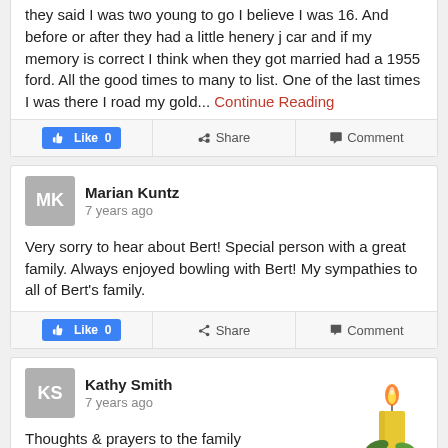they said I was two young to go I believe I was 16. And before or after they had a little henery j car and if my memory is correct I think when they got married had a 1955 ford. All the good times to many to list. One of the last times I was there I road my gold... Continue Reading
Like 0 | Share | Comment
Marian Kuntz
7 years ago
Very sorry to hear about Bert! Special person with a great family. Always enjoyed bowling with Bert! My sympathies to all of Bert's family.
Like 0 | Share | Comment
Kathy Smith
7 years ago
Thoughts & prayers to the family
[Figure (illustration): A yellow candle with flame and green leaf decoration at the bottom right of the page]